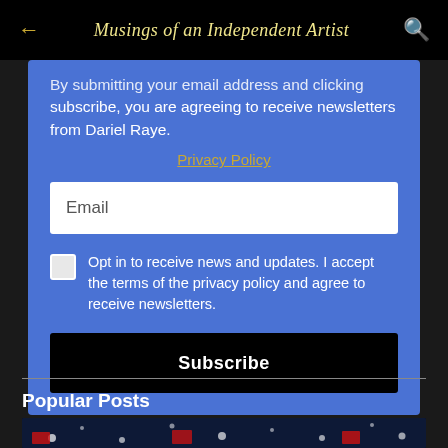Musings of an Independent Artist
By submitting your email address and clicking subscribe, you are agreeing to receive newsletters from Dariel Raye.
Privacy Policy
Email
Opt in to receive news and updates. I accept the terms of the privacy policy and agree to receive newsletters.
Subscribe
Popular Posts
[Figure (photo): Dark background image with bokeh/starry lights, partially visible at bottom of page]